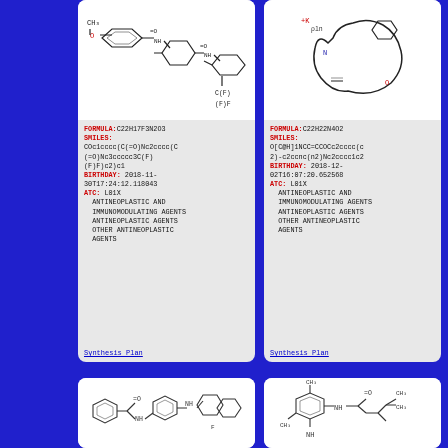[Figure (illustration): Chemical structure diagram of compound with formula C22H17F3N2O3, showing aromatic rings with methoxy group, amide bonds, and trifluoromethyl group]
FORMULA: C22H17F3N2O3
SMILES:
COc1cccc(C(=O)Nc2cccc(C(=O)Nc3ccccc3C(F)(F)F)c2)c1
BIRTHDAY: 2018-11-30T17:24:12.118043
ATC: L01X
  ANTINEOPLASTIC AND IMMUNOMODULATING AGENTS
  ANTINEOPLASTIC AGENTS
  OTHER ANTINEOPLASTIC AGENTS
Synthesis Plan
[Figure (illustration): Chemical structure diagram of compound with formula C22H22N4O2, showing macrocyclic structure with potassium atom labeled, nitrogen and oxygen atoms]
FORMULA: C22H22N4O2
SMILES:
O[C@H]1NCC=CCOCc2cccc(c2)-c2ccnc(n2)Nc2cccc1c2
BIRTHDAY: 2018-12-02T16:07:20.652568
ATC: L01X
  ANTINEOPLASTIC AND IMMUNOMODULATING AGENTS
  ANTINEOPLASTIC AGENTS
  OTHER ANTINEOPLASTIC AGENTS
Synthesis Plan
[Figure (illustration): Chemical structure diagram of a compound showing aromatic rings connected by amide bonds with a benzimidazole moiety]
[Figure (illustration): Chemical structure diagram showing a dimethyl-substituted compound with an amine and amide group connected to an isobutyl chain]